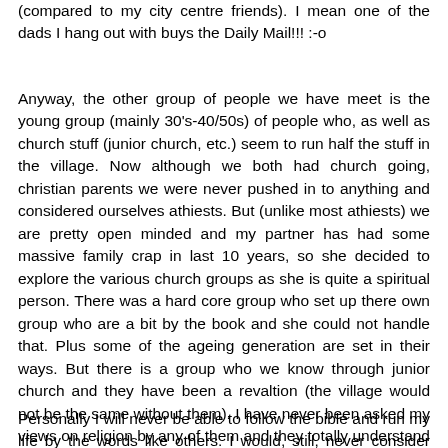(compared to my city centre friends). I mean one of the dads I hang out with buys the Daily Mail!!! :-o
Anyway, the other group of people we have meet is the young group (mainly 30's-40/50s) of people who, as well as church stuff (junior church, etc.) seem to run half the stuff in the village. Now although we both had church going, christian parents we were never pushed in to anything and considered ourselves athiests. But (unlike most athiests) we are pretty open minded and my partner has had some massive family crap in last 10 years, so she decided to explore the various church groups as she is quite a spiritual person. There was a hard core group who set up there own group who are a bit by the book and she could not handle that. Plus some of the ageing generation are set in their ways. But there is a group who we know through junior church and they have been a revaltion (the village would not be the same without them). I have never been asked my views on religion by any of them and they totally understand the people who love the community part but are not the religion part. I reckon these type of people (mainly men  - like my dad) have made up a good 1/3 of all religious communities in England for years. My dad couldn't give a toss about god but loves singing, churches and helping out in the community so he has always been involved. Nobody ever asked him if he believed in God.
Personally I will never be able to follow the bible and run my life by the words like others. I would, still, never consider myself religious. But i am in